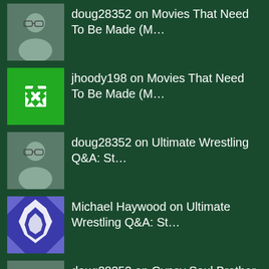doug28352 on Movies That Need To Be Made (M…
jhoody198 on Movies That Need To Be Made (M…
doug28352 on Ultimate Wrestling Q&A: St…
Michael Haywood on Ultimate Wrestling Q&A: St…
doug28352 on Gypsy Soul Brother (This is fo…
Archives
August 2022